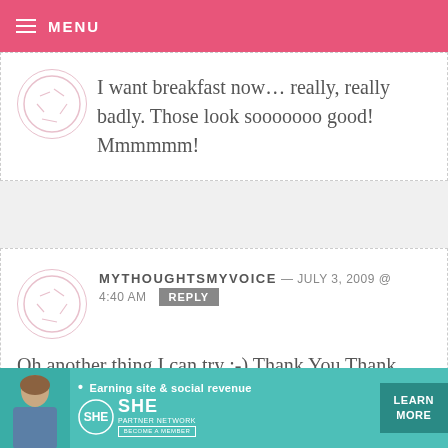MENU
I want breakfast now… really, really badly. Those look sooooooo good! Mmmmmm!
MYTHOUGHTSMYVOICE — JULY 3, 2009 @ 4:40 AM REPLY
Oh another thing I can try :-) Thank You Thank you Miss bakerella
[Figure (screenshot): SHE Partner Network advertisement banner with tagline 'Earning site & social revenue', logo, and LEARN MORE button]